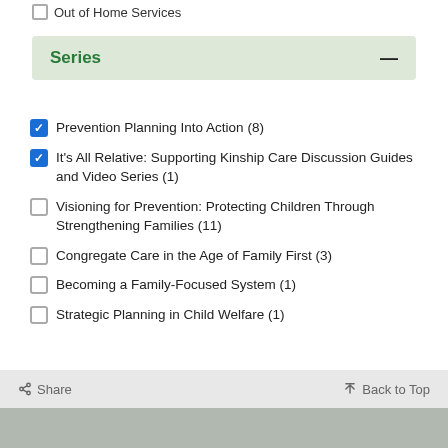Out of Home Services
Series
Prevention Planning Into Action (8)
It's All Relative: Supporting Kinship Care Discussion Guides and Video Series (1)
Visioning for Prevention: Protecting Children Through Strengthening Families (11)
Congregate Care in the Age of Family First (3)
Becoming a Family-Focused System (1)
Strategic Planning in Child Welfare (1)
Share   Back to Top